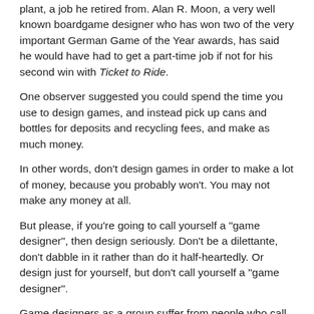plant, a job he retired from. Alan R. Moon, a very well known boardgame designer who has won two of the very important German Game of the Year awards, has said he would have had to get a part-time job if not for his second win with Ticket to Ride.
One observer suggested you could spend the time you use to design games, and instead pick up cans and bottles for deposits and recycling fees, and make as much money.
In other words, don't design games in order to make a lot of money, because you probably won't. You may not make any money at all.
But please, if you're going to call yourself a "game designer", then design seriously. Don't be a dilettante, don't dabble in it rather than do it half-heartedly. Or design just for yourself, but don't call yourself a "game designer".
Game designers as a group suffer from people who call themselves game designers, but work on just one game, produce a weak (though possibly pretty) prototype, don't alpha test it, and then inflict it on volunteer playtesters who